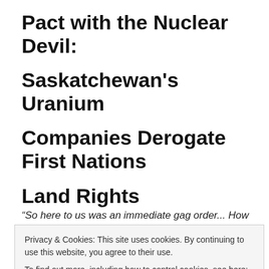Pact with the Nuclear Devil: Saskatchewan's Uranium Companies Derogate First Nations Land Rights
“So here to us was an immediate gag order... How come if
Privacy & Cookies: This site uses cookies. By continuing to use this website, you agree to their use.
To find out more, including how to control cookies, see here: Cookie Policy
LISTEN TO THE SHOW